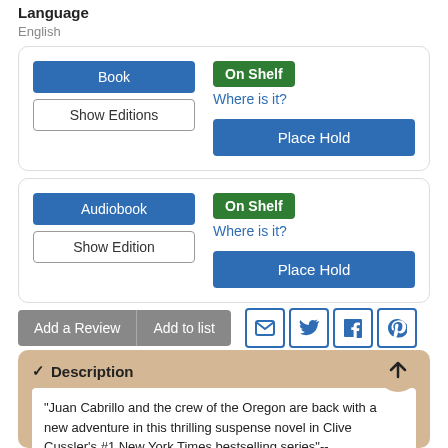Language
English
Book
Show Editions
On Shelf
Where is it?
Place Hold
Audiobook
Show Edition
On Shelf
Where is it?
Place Hold
Add a Review
Add to list
Description
"Juan Cabrillo and the crew of the Oregon are back with a new adventure in this thrilling suspense novel in Clive Cussler's #1 New York Times bestselling series"--